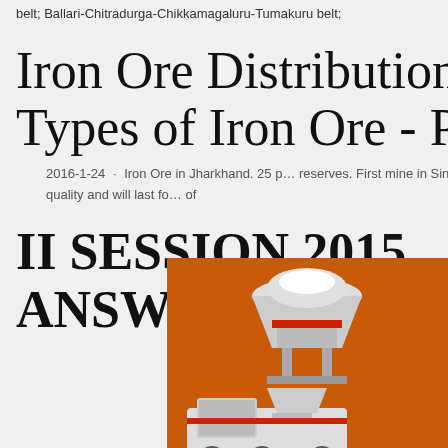belt; Ballari-Chitradurga-Chikkamagaluru-Tumakuru belt;
Iron Ore Distribution in India | Types of Iron Ore - PMF I…
2016-1-24 · Iron Ore in Jharkhand. 25 p… reserves. First mine in Singhbhum district in 1… ore of here is of highest quality and will last fo… of
II SESSION 2015… CLASS-X ANSWER KEY -… CBSE
[Figure (illustration): Advertisement sidebar with orange background showing industrial mining/crushing machine images, 'Enjoy 3% discount' in yellow bar, 'Click to Chat' in gold bar, 'Enquiry' button, and email limingjlmofen@sina.com]
Enquiry
limingjlmofen@sina.com